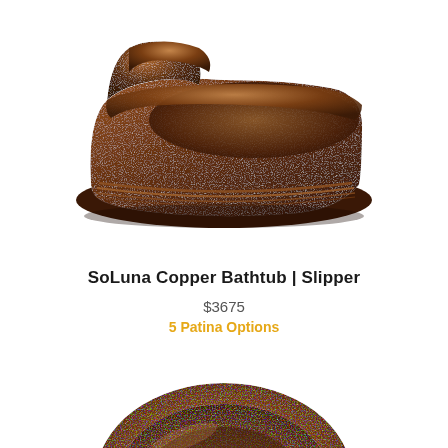[Figure (photo): A copper slipper bathtub viewed from a 3/4 angle, showing its asymmetric silhouette with one raised end (backrest), deep basin, and decorative ribbed banding around the lower exterior. The copper has a dark aged patina finish.]
SoLuna Copper Bathtub | Slipper
$3675
5 Patina Options
[Figure (photo): A top-down partial view of a round or oval copper bathtub, showing the interior bowl and the copper rim with dark aged patina finish, cropped at the bottom of the page.]